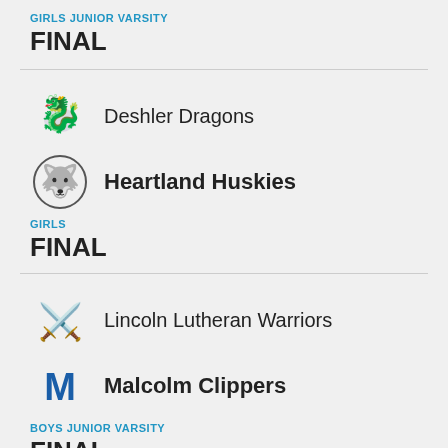GIRLS JUNIOR VARSITY
FINAL
Deshler Dragons
Heartland Huskies
GIRLS
FINAL
Lincoln Lutheran Warriors
Malcolm Clippers
BOYS JUNIOR VARSITY
FINAL
Exeter-Milligan Timberwolves
McCool Junction Mustangs